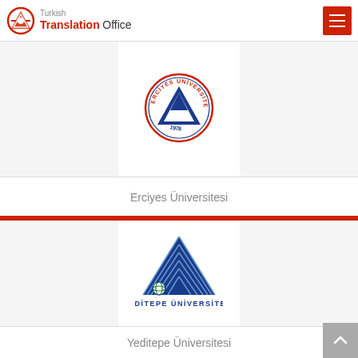Turkish Translation Office
[Figure (logo): Erciyes Üniversitesi circular seal logo with triangle motif, 1978]
Erciyes Üniversitesi
[Figure (logo): Yeditepe Üniversitesi logo with blue triangle and globe, text YEDİTEPE ÜNİVERSİTESİ]
Yeditepe Üniversitesi